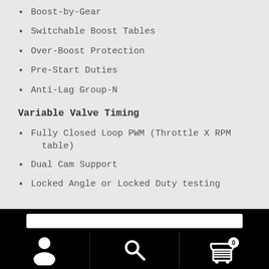Boost-by-Gear
Switchable Boost Tables
Over-Boost Protection
Pre-Start Duties
Anti-Lag Group-N
Variable Valve Timing
Fully Closed Loop PWM (Throttle X RPM table)
Dual Cam Support
Locked Angle or Locked Duty testing